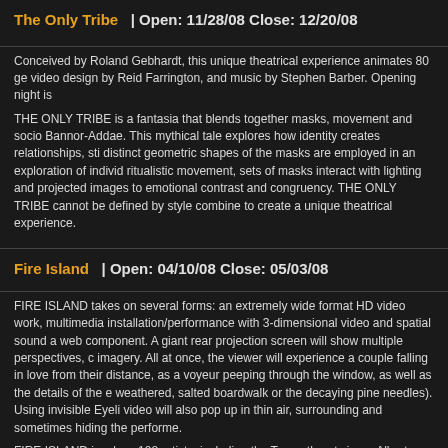The Only Tribe | Open: 11/28/08 Close: 12/20/08
Conceived by Roland Gebhardt, this unique theatrical experience animates 80 ge... video design by Reid Farrington, and music by Stephen Barber. Opening night is...
THE ONLY TRIBE is a fantasia that blends together masks, movement and socio... Bannor-Addae. This mythical tale explores how identity creates relationships, sti... distinct geometric shapes of the masks are employed in an exploration of individ... ritualistic movement, sets of masks interact with lighting and projected images to... emotional contrast and congruency. THE ONLY TRIBE cannot be defined by style... combine to create a unique theatrical experience.
Fire Island | Open: 04/10/08 Close: 05/03/08
FIRE ISLAND takes on several forms: an extremely wide format HD video work,... multimedia installation/performance with 3-dimensional video and spatial sound a... web component. A giant rear projection screen will show multiple perspectives, c... imagery. All at once, the viewer will experience a couple falling in love from their... distance, as a voyeur peeping through the window, as well as the details of the e... weathered, salted boardwalk or the decaying pine needles). Using invisible Eyeli... video will also pop up in thin air, surrounding and sometimes hiding the performe.
FIRE ISLAND involves 108 artists, including the Tuvan throat singer Albert Kuvez... consists of covers of popular songs (including Joy Division's "Love Will Tear Us A... Tuvan overtone singing and traditional Tuvan instruments. Kuvezin will travel fron...
title... | Open: 10/24/07 Close: 11/3/07